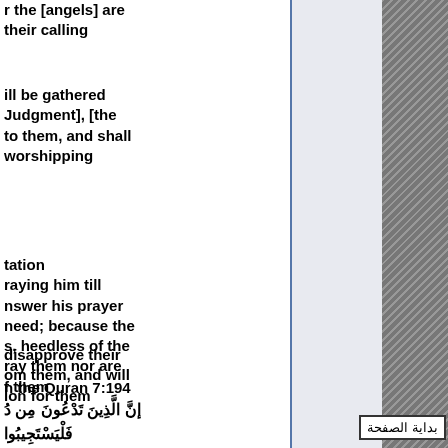r the [angels] are their calling
ill be gathered Judgment], [the to them, and shall worshipping
tation raying him till nswer his prayer need; because the s, heedless of the ray them nor are f them
disapprove their om them, and will ion for them
n the Quran 7:194
إنَّ الَّذِينَ تَدْعُونَ مِن دُ
فَلْيَسْتَجِيبُوا
ation
ossides God, are)
بداية الصفحة